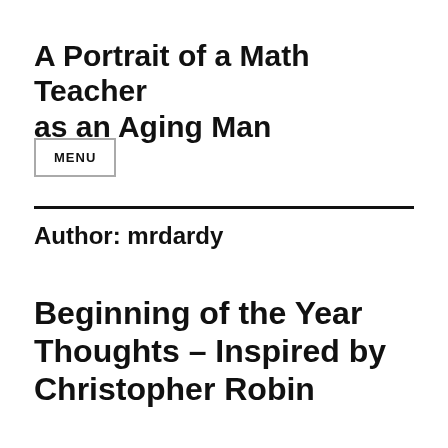A Portrait of a Math Teacher as an Aging Man
MENU
Author: mrdardy
Beginning of the Year Thoughts – Inspired by Christopher Robin